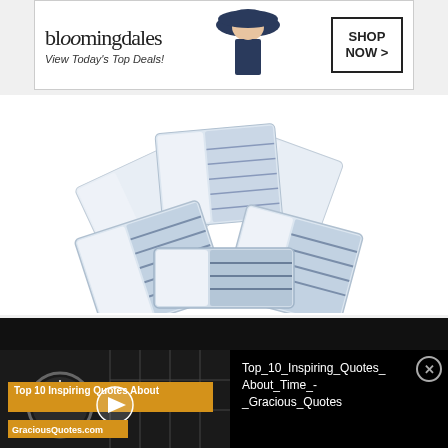[Figure (screenshot): Bloomingdales advertisement banner with text 'bloomingdales', 'View Today's Top Deals!', a model in a hat, and a 'SHOP NOW >' button]
[Figure (photo): Stack of Booboo Makeup Remover Cleansing Towelettes packages with blue and white chevron pattern]
[Figure (screenshot): Black background with large golden quotation mark symbols]
[Figure (screenshot): Video thumbnail showing 'Top 10 Inspiring Quotes About' overlaid on a black and white clock image with GraciousQuotes.com label and play button, alongside title text 'Top_10_Inspiring_Quotes_About_Time_-_Gracious_Quotes' with a close button]